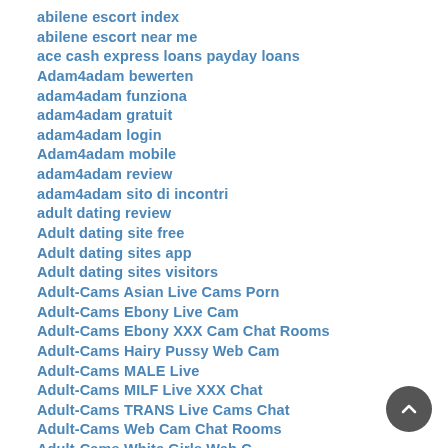abilene escort index
abilene escort near me
ace cash express loans payday loans
Adam4adam bewerten
adam4adam funziona
adam4adam gratuit
adam4adam login
Adam4adam mobile
adam4adam review
adam4adam sito di incontri
adult dating review
Adult dating site free
Adult dating sites app
Adult dating sites visitors
Adult-Cams Asian Live Cams Porn
Adult-Cams Ebony Live Cam
Adult-Cams Ebony XXX Cam Chat Rooms
Adult-Cams Hairy Pussy Web Cam
Adult-Cams MALE Live
Adult-Cams MILF Live XXX Chat
Adult-Cams TRANS Live Cams Chat
Adult-Cams Web Cam Chat Rooms
Adult-Cams White Girls Web C...